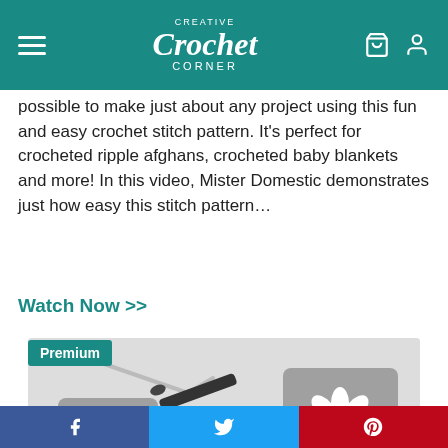Creative Crochet Corner
possible to make just about any project using this fun and easy crochet stitch pattern. It's perfect for crocheted ripple afghans, crocheted baby blankets and more! In this video, Mister Domestic demonstrates just how easy this stitch pattern…
Watch Now >>
[Figure (photo): Video thumbnail showing two grey crocheted granny squares with white daisy flowers and yellow centers, with a crochet hook, on a white background. A play button overlay is visible in the center.]
f  [Facebook]   [Twitter bird]   p  [Pinterest]